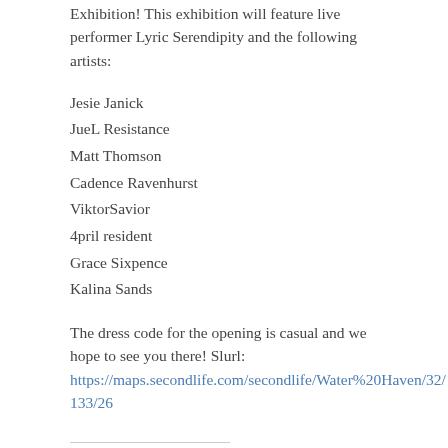Exhibition! This exhibition will feature live performer Lyric Serendipity and the following artists:
Jesie Janick
JueL Resistance
Matt Thomson
Cadence Ravenhurst
ViktorSavior
4pril resident
Grace Sixpence
Kalina Sands
The dress code for the opening is casual and we hope to see you there! Slurl: https://maps.secondlife.com/secondlife/Water%20Haven/32/133/26
SHARE THIS: